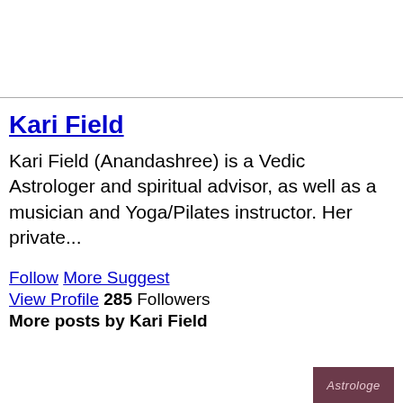Kari Field
Kari Field (Anandashree) is a Vedic Astrologer and spiritual advisor, as well as a musician and Yoga/Pilates instructor. Her private...
Follow  More Suggest
View Profile  285 Followers
More posts by Kari Field
[Figure (photo): Partially visible image in bottom right corner with dark reddish-purple background and text 'Astrologe']